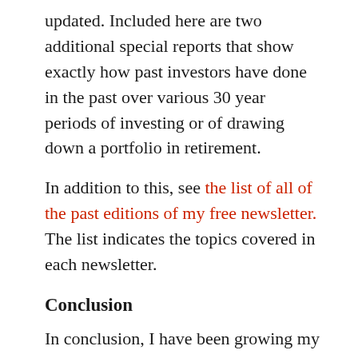updated. Included here are two additional special reports that show exactly how past investors have done in the past over various 30 year periods of investing or of drawing down a portfolio in retirement.
In addition to this, see the list of all of the past editions of my free newsletter. The list indicates the topics covered in each newsletter.
Conclusion
In conclusion, I have been growing my wealth quite successfully through investing for almost 30 years. My education and my intensive studies of investing have been the reason for my success (along with, no doubt, some good luck). For the past 17 years I have shared what I learned and what I am in invested in on this web site. The process of developing all of the